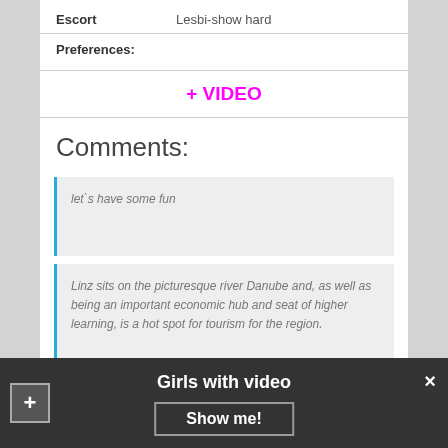| Escort | Lesbi-show hard |
| Preferences: |  |
+ VIDEO
Comments:
let`s have some fun
Linz sits on the picturesque river Danube and, as well as being an important economic hub and seat of higher learning, is a hot spot for tourism for the region.
Girls with video
Show me!